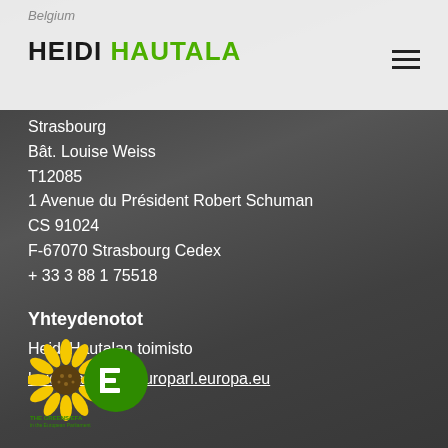Belgium
HEIDI HAUTALA
Strasbourg
Bât. Louise Weiss
T12085
1 Avenue du Président Robert Schuman
CS 91024
F-67070 Strasbourg Cedex
+ 33 3 88 1 75518
Yhteydenotot
Heidi Hautalan toimisto
heidi.hautala@europarl.europa.eu
[Figure (logo): The Greens/EFA in the European Parliament logo with sunflower and green circular emblem]